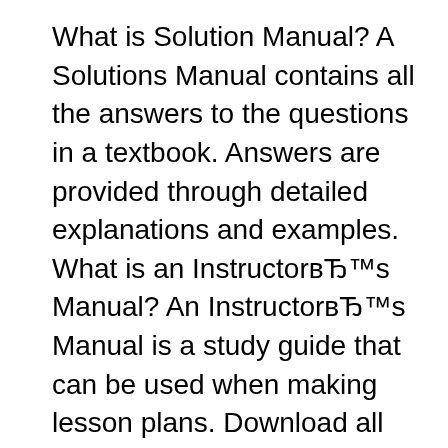What is Solution Manual? A Solutions Manual contains all the answers to the questions in a textbook. Answers are provided through detailed explanations and examples. What is an Instructor’s Manual? An Instructor’s Manual is a study guide that can be used when making lesson plans. Download all chapters of Solutions Manual for Contemporary Engineering Economics 4th Edition by Park. Accounting Information Economics Finance. More information. Saved by. eric. 8. Solution Manual for Accounting Information Systems 8th Edition Hall.doc. What others are saying Solution Manual for Accounting Information Systems 8th...